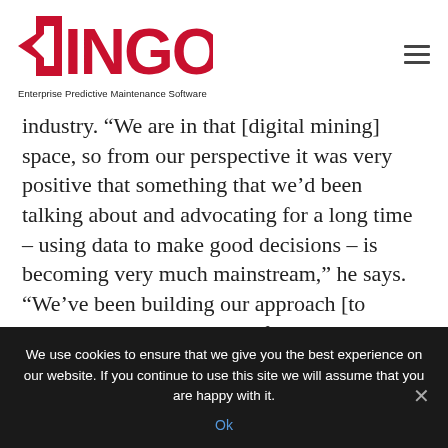DINGO Enterprise Predictive Maintenance Software
industry. “We are in that [digital mining] space, so from our perspective it was very positive that something that we’d been talking about and advocating for a long time – using data to make good decisions – is becoming very much mainstream,” he says.
“We’ve been building our approach [to mobile asset management] for over two decades, so we
We use cookies to ensure that we give you the best experience on our website. If you continue to use this site we will assume that you are happy with it.
Ok